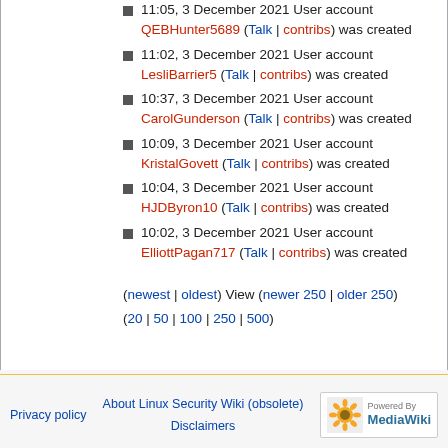11:05, 3 December 2021 User account QEBHunter5689 (Talk | contribs) was created
11:02, 3 December 2021 User account LesliBarrier5 (Talk | contribs) was created
10:37, 3 December 2021 User account CarolGunderson (Talk | contribs) was created
10:09, 3 December 2021 User account KristalGovett (Talk | contribs) was created
10:04, 3 December 2021 User account HJDByron10 (Talk | contribs) was created
10:02, 3 December 2021 User account ElliottPagan717 (Talk | contribs) was created
(newest | oldest) View (newer 250 | older 250) (20 | 50 | 100 | 250 | 500)
Privacy policy   About Linux Security Wiki (obsolete)   Disclaimers   Powered by MediaWiki